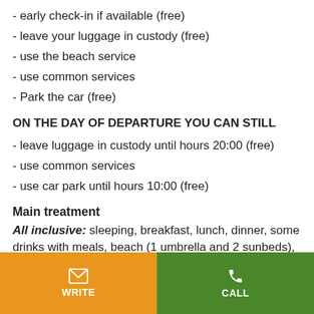- early check-in if available (free)
- leave your luggage in custody (free)
- use the beach service
- use common services
- Park the car (free)
ON THE DAY OF DEPARTURE YOU CAN STILL
- leave luggage in custody until hours 20:00 (free)
- use common services
- use car park until hours 10:00 (free)
Main treatment
All inclusive: sleeping, breakfast, lunch, dinner, some drinks with meals, beach (1 umbrella and 2 sunbeds),